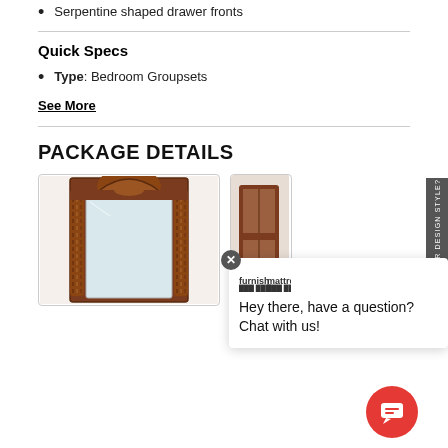Serpentine shaped drawer fronts
Quick Specs
Type: Bedroom Groupsets
See More
PACKAGE DETAILS
[Figure (photo): Ornate wooden mirror with carved frame and spiral column details, partially visible]
[Figure (photo): Partial view of another furniture piece in the package]
Hey there, have a question? Chat with us!